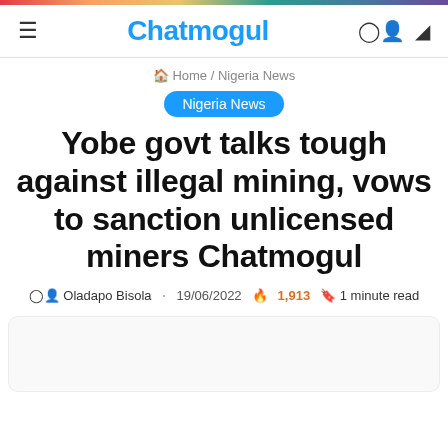Chatmogul
Home / Nigeria News
Nigeria News
Yobe govt talks tough against illegal mining, vows to sanction unlicensed miners Chatmogul
Oladapo Bisola · 19/06/2022 🔥 1,913 🔖 1 minute read